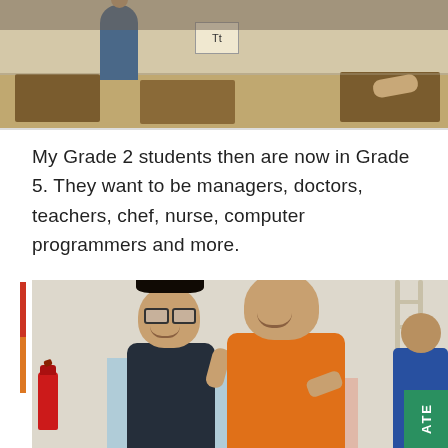[Figure (photo): Top photo of a classroom with students sitting at wooden desks, a sign visible on the board reading 'Tt']
My Grade 2 students then are now in Grade 5. They want to be managers, doctors, teachers, chef, nurse, computer programmers and more.
[Figure (photo): Photo of two smiling people: a woman with glasses in dark top and a young man in an orange polo shirt, standing in a room with a fire extinguisher and ladder visible. A partial third person visible at right edge. Green 'ATE' badge in bottom-right corner.]